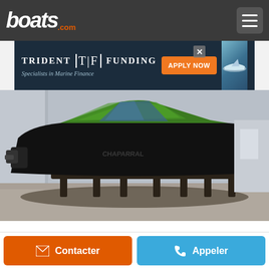boats.com
[Figure (screenshot): Trident Funding advertisement banner — 'TRIDENT T|F FUNDING — Specialists in Marine Finance — APPLY NOW' with a boat image on the right]
[Figure (photo): Black and green Chaparral 223 VRX 2016 speedboat on a boat stand in a parking lot]
Chaparral 223 VRX 2016
Fort Myers, Floride, États-Unis
€64 766
Contacter
Appeler